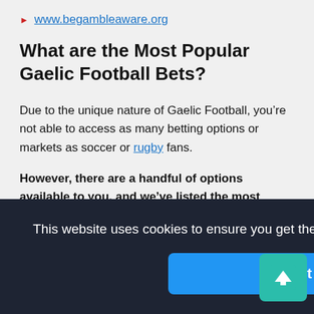www.begambleaware.org
What are the Most Popular Gaelic Football Bets?
Due to the unique nature of Gaelic Football, you’re not able to access as many betting options or markets as soccer or rugby fans.
However, there are a handful of options available to you, and we’ve listed the most popular types of wager
This website uses cookies to ensure you get the best experience on our website. Learn more
Got it!